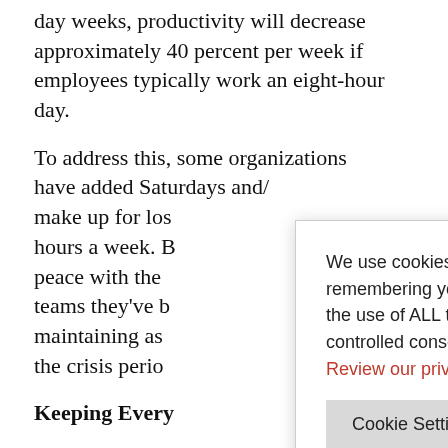day weeks, productivity will decrease approximately 40 percent per week if employees typically work an eight-hour day.
To address this, some organizations have added Saturdays and/or make up for lost hours a week. But peace with the teams they've had maintaining as the crisis perio
We use cookies on our website to give you the most relevant experience by remembering your preferences and repeat visits. By clicking “Accept”, you consent to the use of ALL the cookies. However, you may visit “Cookie Settings” to provide a controlled consent. Review our privacy policy here.
Keeping Every